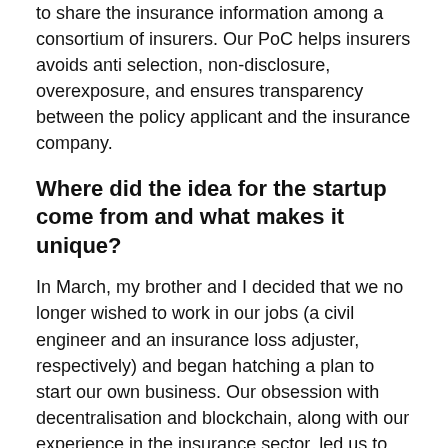to share the insurance information among a consortium of insurers. Our PoC helps insurers avoids anti selection, non-disclosure, overexposure, and ensures transparency between the policy applicant and the insurance company.
Where did the idea for the startup come from and what makes it unique?
In March, my brother and I decided that we no longer wished to work in our jobs (a civil engineer and an insurance loss adjuster, respectively) and began hatching a plan to start our own business. Our obsession with decentralisation and blockchain, along with our experience in the insurance sector, led us to the concept of Addenda: a start-up that intended to bring trust back to an industry that was built on it.
We later found out that this was easier said than done, and hired our tech lead, Harsh, and began working on a few prototype ideas ranging from personal lines insurance to motor insurance. We scoped the market and